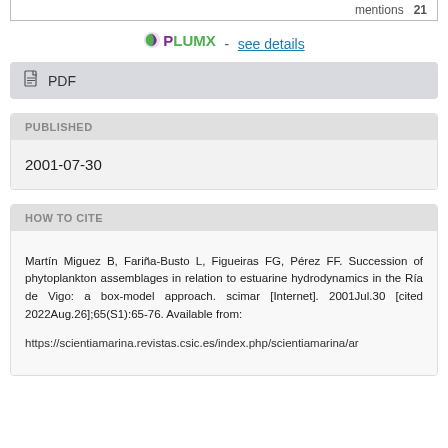PlumX - see details
PDF
PUBLISHED
2001-07-30
HOW TO CITE
Martín Miguez B, Fariña-Busto L, Figueiras FG, Pérez FF. Succession of phytoplankton assemblages in relation to estuarine hydrodynamics in the Ría de Vigo: a box-model approach. scimar [Internet]. 2001Jul.30 [cited 2022Aug.26];65(S1):65-76. Available from: https://scientiamarina.revistas.csic.es/index.php/scientiamarina/ar